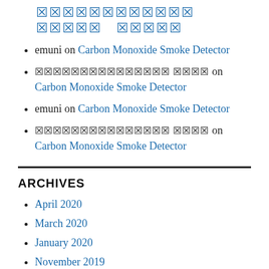[redacted] [redacted] [redacted]
emuni on Carbon Monoxide Smoke Detector
[redacted] [redacted] on Carbon Monoxide Smoke Detector
emuni on Carbon Monoxide Smoke Detector
[redacted] [redacted] on Carbon Monoxide Smoke Detector
ARCHIVES
April 2020
March 2020
January 2020
November 2019